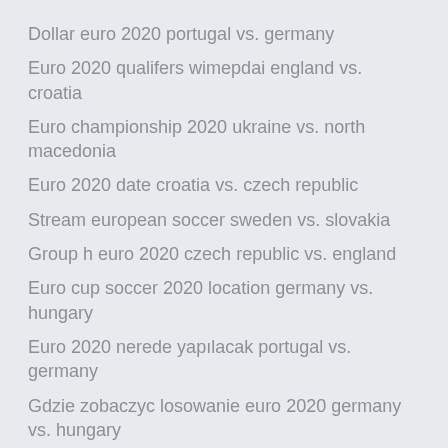Dollar euro 2020 portugal vs. germany
Euro 2020 qualifers wimepdai england vs. croatia
Euro championship 2020 ukraine vs. north macedonia
Euro 2020 date croatia vs. czech republic
Stream european soccer sweden vs. slovakia
Group h euro 2020 czech republic vs. england
Euro cup soccer 2020 location germany vs. hungary
Euro 2020 nerede yapılacak portugal vs. germany
Gdzie zobaczyc losowanie euro 2020 germany vs. hungary
Euro 2020 με ποιες χώρες θα παιξει η ελλάδα στα προκριματικά netherlands vs. ukraine